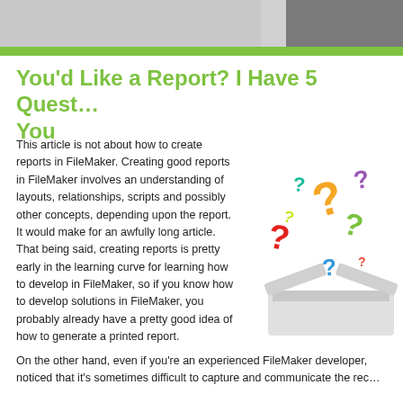[Figure (photo): Page header with two image sections — a light grey area on the left and a dark grey area on the right]
You'd Like a Report? I Have 5 Questions for You
This article is not about how to create reports in FileMaker. Creating good reports in FileMaker involves an understanding of layouts, relationships, scripts and possibly other concepts, depending upon the report. It would make for an awfully long article. That being said, creating reports is pretty early in the learning curve for learning how to develop in FileMaker, so if you know how to develop solutions in FileMaker, you probably already have a pretty good idea of how to generate a printed report.
[Figure (illustration): Colorful question marks of various colors (orange, red, green, blue, purple, yellow) floating out of an open white box]
On the other hand, even if you're an experienced FileMaker developer, noticed that it's sometimes difficult to capture and communicate the rec...